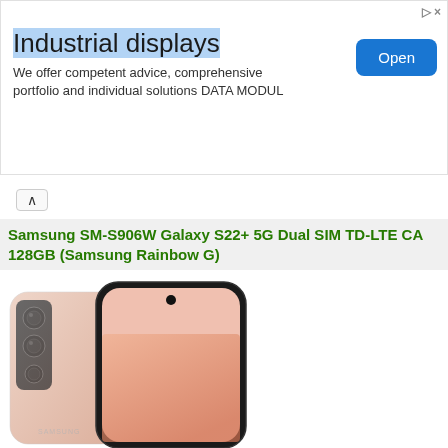[Figure (infographic): Advertisement banner for Industrial displays by DATA MODUL. Features a large bold title 'Industrial displays', body text 'We offer competent advice, comprehensive portfolio and individual solutions DATA MODUL', and a blue 'Open' button. Includes small ad icon and close X in top right.]
Samsung SM-S906W Galaxy S22+ 5G Dual SIM TD-LTE CA 128GB (Samsung Rainbow G)
[Figure (photo): Samsung Galaxy S22+ smartphone shown from the back (pink/gold, triple camera) and front (pink display, punch-hole selfie camera), product photo on white background.]
S906WIDAXAC, 75.8x157.4x7.6 mm, Google Android 12 (S), Qualcomm Snapdragon 8 Gen 1 5G SM8450 (Taro), 8 GiB RAM, 128 GB ROM, 6.6 inch, 1080x2340, 50.3 MP camera, 10.0 MP sec. cam, 5000 mAh battery | All details |
Add to compare